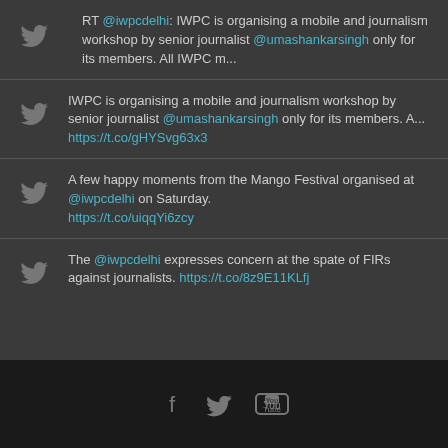RT @iwpcdelhi: IWPC is organising a mobile and journalism workshop by senior journalist @umashankarsingh only for its members. All IWPC m...
IWPC is organising a mobile and journalism workshop by senior journalist @umashankarsingh only for its members. A... https://t.co/gHYSvg63x3
A few happy moments from the Mango Festival organised at @iwpcdelhi on Saturday. https://t.co/uiqqYi6zcy
The @iwpcdelhi expresses concern at the spate of FIRs against journalists. https://t.co/8z9E11KLfj
social icons: facebook, twitter, youtube